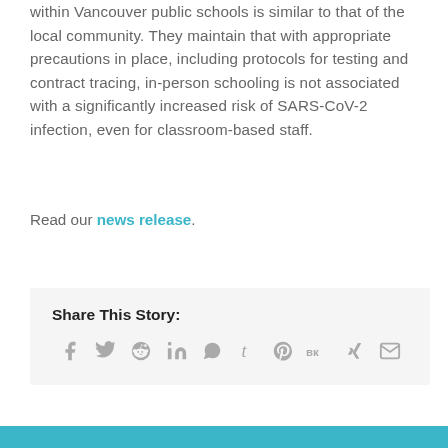within Vancouver public schools is similar to that of the local community. They maintain that with appropriate precautions in place, including protocols for testing and contract tracing, in-person schooling is not associated with a significantly increased risk of SARS-CoV-2 infection, even for classroom-based staff.
Read our news release.
Share This Story: [social share icons: Facebook, Twitter, Reddit, LinkedIn, WhatsApp, Tumblr, Pinterest, VK, Xing, Email]